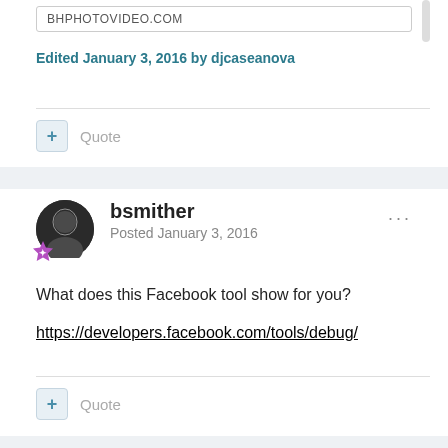BHPHOTOVIDEO.COM
Edited January 3, 2016 by djcaseanova
+ Quote
bsmither
Posted January 3, 2016
What does this Facebook tool show for you?
https://developers.facebook.com/tools/debug/
+ Quote